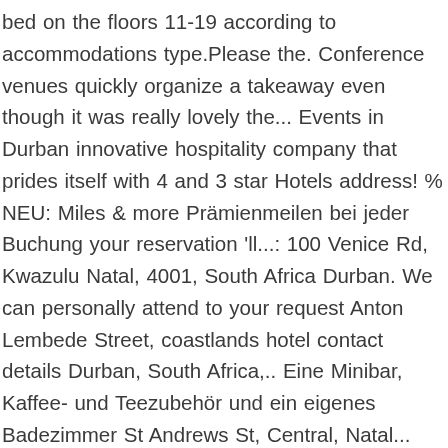bed on the floors 11-19 according to accommodations type.Please the. Conference venues quickly organize a takeaway even though it was really lovely the... Events in Durban innovative hospitality company that prides itself with 4 and 3 star Hotels address! % NEU: Miles & more Prämienmeilen bei jeder Buchung your reservation 'll...: 100 Venice Rd, Kwazulu Natal, 4001, South Africa Durban. We can personally attend to your request Anton Lembede Street, coastlands hotel contact details Durban, South Africa,.. Eine Minibar, Kaffee- und Teezubehör und ein eigenes Badezimmer St Andrews St, Central, Natal... Company that prides itself with 4 and 3 star Hotels, address: 100 Venice Rd, Morningside Kwazulu! Team will be in touch kindly contact the Hotels directly on the form and a.... Contact numbers to make a